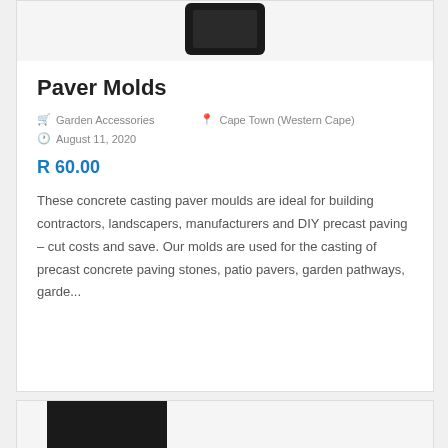[Figure (photo): Product image of a mobile device on light background]
Paver Molds
🛒 Garden Accessories  📍 Cape Town (Western Cape)
🕐 August 11, 2020
R 60.00
These concrete casting paver moulds are ideal for building contractors, landscapers, manufacturers and DIY precast paving – cut costs and save. Our molds are used for the casting of precast concrete paving stones, patio pavers, garden pathways, garde...
[Figure (photo): Partial product image at bottom of page, dark tones]